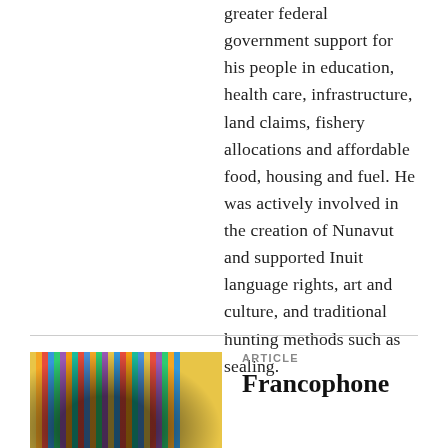greater federal government support for his people in education, health care, infrastructure, land claims, fishery allocations and affordable food, housing and fuel. He was actively involved in the creation of Nunavut and supported Inuit language rights, art and culture, and traditional hunting methods such as sealing.
[Figure (photo): Colorful books or folders seen side-on, showing spines with vivid colors including yellow, red, blue, green, purple]
ARTICLE
Francophone